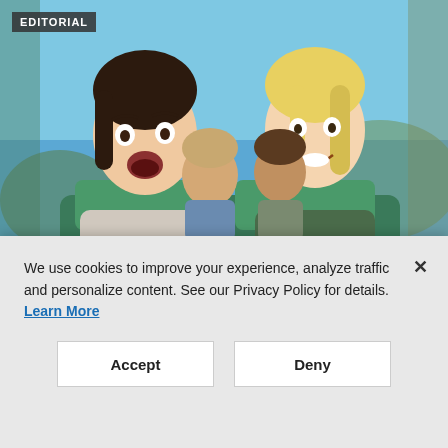[Figure (photo): People riding a roller coaster — a woman screaming on the left and a woman smiling on the right, with two men behind them, against a blue sky background]
EDITORIAL
INFORMATION MANAGEMENT
Cybersecurity Isn't an IT Risk. It's a
We use cookies to improve your experience, analyze traffic and personalize content. See our Privacy Policy for details. Learn More
Accept
Deny